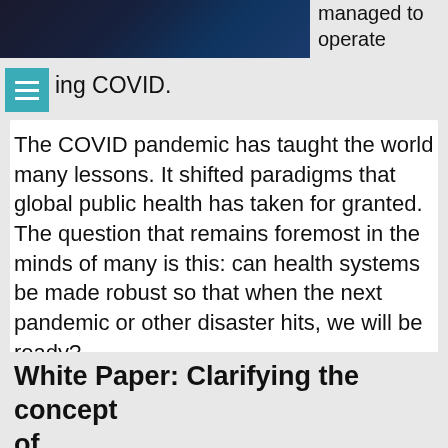[Figure (photo): Dark blue photo of a person, cropped at top of page left side]
managed to operate
ing COVID.
The COVID pandemic has taught the world many lessons. It shifted paradigms that global public health has taken for granted. The question that remains foremost in the minds of many is this: can health systems be made robust so that when the next pandemic or other disaster hits, we will be ready?
Published in  Blog  |  Read more...
Wednesday, 07 July 2021 09:24
White Paper: Clarifying the concept of...